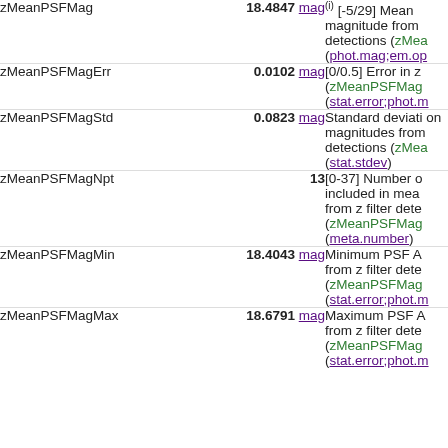| Name | Value | Description |
| --- | --- | --- |
| zMeanPSFMag | 18.4847 mag | (i) [-5/29] Mean magnitude from detections (zMea... (phot.mag;em.op... |
| zMeanPSFMagErr | 0.0102 mag | [0/0.5] Error in z (zMeanPSFMag (stat.error;phot.m... |
| zMeanPSFMagStd | 0.0823 mag | Standard deviation magnitudes from detections (zMea... (stat.stdev) |
| zMeanPSFMagNpt | 13 | [0-37] Number of included in mean from z filter dete... (zMeanPSFMag (meta.number) |
| zMeanPSFMagMin | 18.4043 mag | Minimum PSF A from z filter dete... (zMeanPSFMag (stat.error;phot.m... |
| zMeanPSFMagMax | 18.6791 mag | Maximum PSF A from z filter dete... (zMeanPSFMag (stat.error;phot.m... |